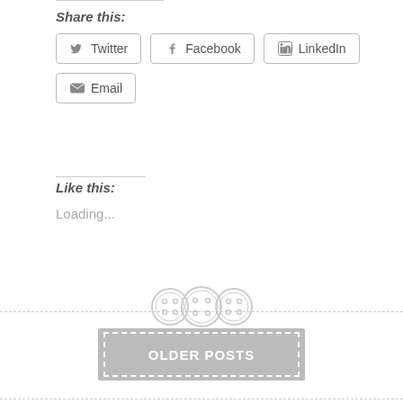Share this:
Twitter  Facebook  LinkedIn  Email
Like this:
Loading...
[Figure (illustration): Three button/sew icons arranged horizontally as a decorative divider element]
OLDER POSTS
The author The...